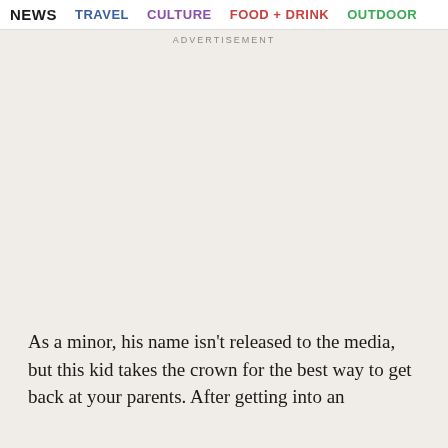NEWS  TRAVEL  CULTURE  FOOD + DRINK  OUTDOOR
ADVERTISEMENT
As a minor, his name isn't released to the media, but this kid takes the crown for the best way to get back at your parents. After getting into an